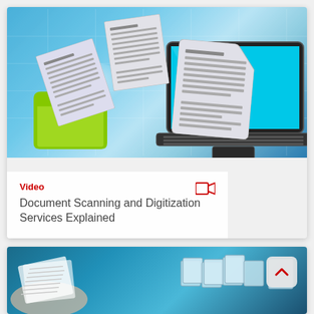[Figure (screenshot): Video thumbnail card: illustration of documents flying into a laptop, with a green folder, on a blue gradient background. Overlay shows 'Video' label in red, a video camera icon, and the title 'Document Scanning and Digitization Services Explained'.]
[Figure (screenshot): Partial second card at bottom: teal/blue gradient background showing a hand holding documents with more documents and folders, and a back-to-top chevron button in the top right corner.]